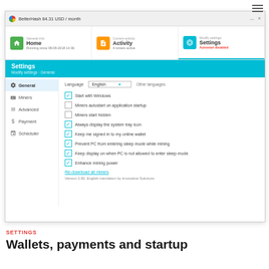[Figure (screenshot): BetterHash application screenshot showing Settings panel with General tab selected, displaying checkboxes for startup and mining options, language selector set to English, sidebar with General, Miners, Advanced, Payment, Scheduler items]
SETTINGS
Wallets, payments and startup